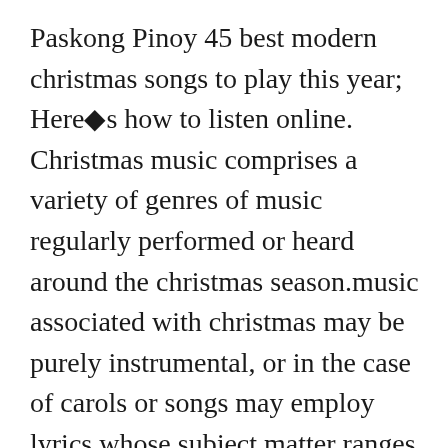Paskong Pinoy 45 best modern christmas songs to play this year; Here�s how to listen online. Christmas music comprises a variety of genres of music regularly performed or heard around the christmas season.music associated with christmas may be purely instrumental, or in the case of carols or songs may employ lyrics whose subject matter ranges from the nativity of jesus christ, to giftgiving and merrymaking, to cultural figures such as santa claus, among other topics. Get in the xmas spirit